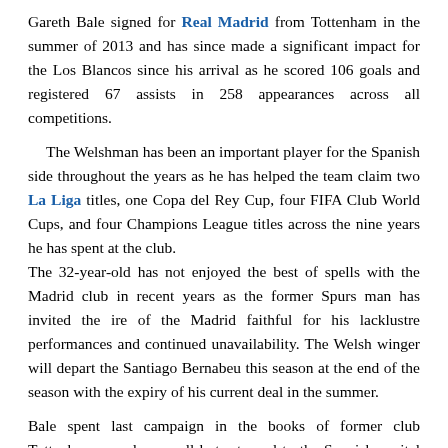Gareth Bale signed for Real Madrid from Tottenham in the summer of 2013 and has since made a significant impact for the Los Blancos since his arrival as he scored 106 goals and registered 67 assists in 258 appearances across all competitions.
The Welshman has been an important player for the Spanish side throughout the years as he has helped the team claim two La Liga titles, one Copa del Rey Cup, four FIFA Club World Cups, and four Champions League titles across the nine years he has spent at the club.
The 32-year-old has not enjoyed the best of spells with the Madrid club in recent years as the former Spurs man has invited the ire of the Madrid faithful for his lacklustre performances and continued unavailability. The Welsh winger will depart the Santiago Bernabeu this season at the end of the season with the expiry of his current deal in the summer.
Bale spent last campaign in the books of former club Tottenham on a loan spell but returned to the Spanish capital ahead of the current campaign. The Welshman has only featured five times for Madrid